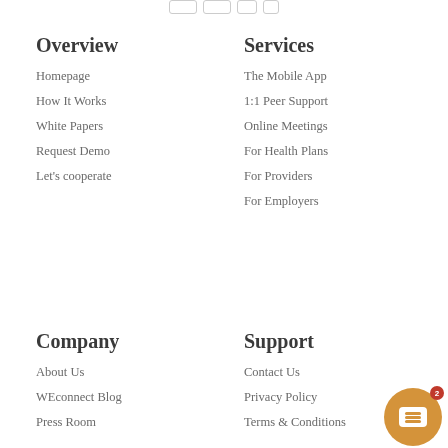[Figure (screenshot): Top navigation icon buttons]
Overview
Homepage
How It Works
White Papers
Request Demo
Let's cooperate
Services
The Mobile App
1:1 Peer Support
Online Meetings
For Health Plans
For Providers
For Employers
Company
About Us
WEconnect Blog
Press Room
Support
Contact Us
Privacy Policy
Terms & Conditions